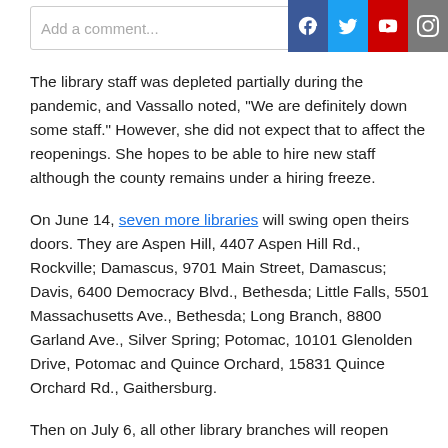Add a comment...
The library staff was depleted partially during the pandemic, and Vassallo noted, “We are definitely down some staff.” However, she did not expect that to affect the reopenings. She hopes to be able to hire new staff although the county remains under a hiring freeze.
On June 14, seven more libraries will swing open theirs doors. They are Aspen Hill, 4407 Aspen Hill Rd., Rockville; Damascus, 9701 Main Street, Damascus; Davis, 6400 Democracy Blvd., Bethesda; Little Falls, 5501 Massachusetts Ave., Bethesda; Long Branch, 8800 Garland Ave., Silver Spring; Potomac, 10101 Glenolden Drive, Potomac and Quince Orchard, 15831 Quince Orchard Rd., Gaithersburg.
Then on July 6, all other library branches will reopen except for Germantown, which is having work done.